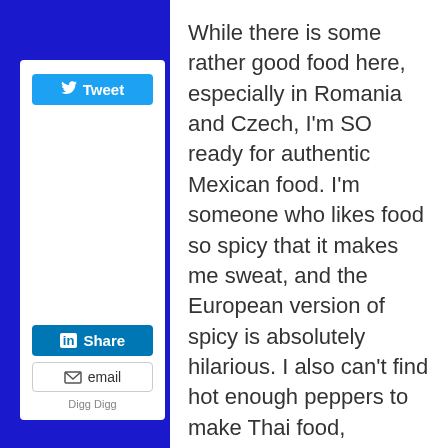[Figure (screenshot): Social sharing sidebar widget with Tweet button (blue), LinkedIn Share button (blue), email button, and Digg Digg text]
While there is some rather good food here, especially in Romania and Czech, I'm SO ready for authentic Mexican food. I'm someone who likes food so spicy that it makes me sweat, and the European version of spicy is absolutely hilarious. I also can't find hot enough peppers to make Thai food, something that won't be a problem for me in Mexico.
I also won't miss Europe's version of bacon. It should be crispy, people! I do enjoy a full English or Scottish, but give me crispy streaky bacon please.